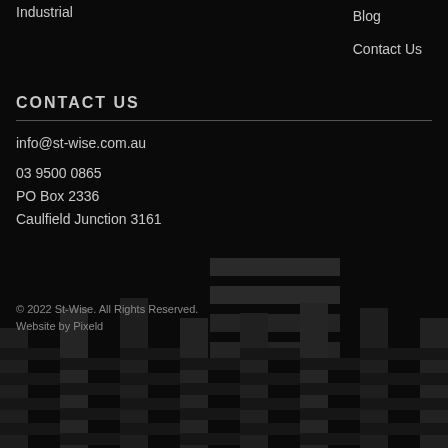Industrial
Blog
Contact Us
CONTACT US
info@st-wise.com.au
03 9500 0865
PO Box 2336
Caulfield Junction 3161
[Figure (illustration): Abstract dark decorative bar/stripe pattern in the lower portion of the page]
© 2022 St-Wise. All Rights Reserved.
Website by Pixeld